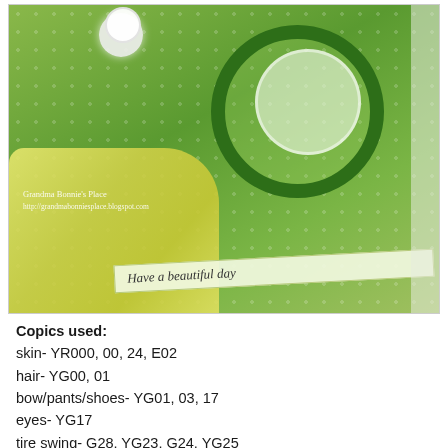[Figure (photo): Craft card photo showing a hand-made green greeting card with a cartoon girl on a tire swing, yellow ribbon bow, flower embellishment, and a banner reading 'Have a beautiful day'. Watermark reads 'Grandma Bonnie's Place http://grandmabonniesplace.blogspot.com']
Copics used:
skin- YR000, 00, 24, E02
hair- YG00, 01
bow/pants/shoes- YG01, 03, 17
eyes- YG17
tire swing- G28, YG23, G24, YG25
shirt- G20. 21
lipes RV29
flower/rope- G02